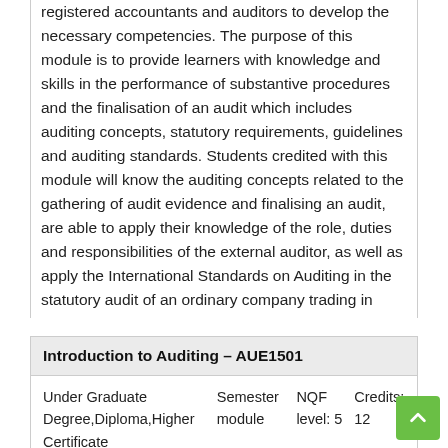registered accountants and auditors to develop the necessary competencies. The purpose of this module is to provide learners with knowledge and skills in the performance of substantive procedures and the finalisation of an audit which includes auditing concepts, statutory requirements, guidelines and auditing standards. Students credited with this module will know the auditing concepts related to the gathering of audit evidence and finalising an audit, are able to apply their knowledge of the role, duties and responsibilities of the external auditor, as well as apply the International Standards on Auditing in the statutory audit of an ordinary company trading in goods and services.
| Introduction to Auditing – AUE1501 |  |  |  |
| --- | --- | --- | --- |
| Under Graduate Degree,Diploma,Higher Certificate | Semester module | NQF level: 5 | Credits: 12 |
| Module presented in English |  |  |  |
| Purpose: To introduce students to the basic principles that applies |  |  |  |